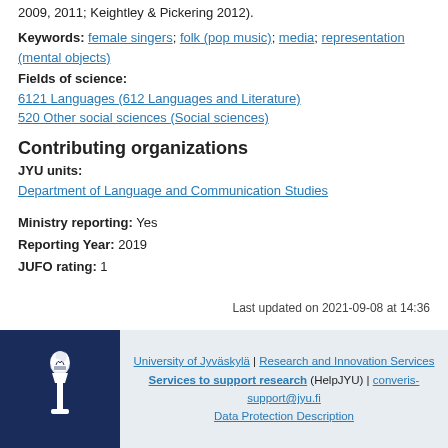2009, 2011; Keightley & Pickering 2012).
Keywords: female singers; folk (pop music); media; representation (mental objects)
Fields of science:
6121 Languages (612 Languages and Literature)
520 Other social sciences (Social sciences)
Contributing organizations
JYU units:
Department of Language and Communication Studies
Ministry reporting: Yes
Reporting Year: 2019
JUFO rating: 1
Last updated on 2021-09-08 at 14:36
University of Jyväskylä | Research and Innovation Services
Services to support research (HelpJYU) | converis-support@jyu.fi
Data Protection Description